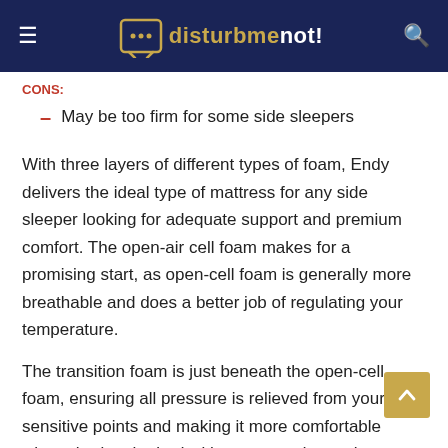disturbmenot!
May be too firm for some side sleepers
With three layers of different types of foam, Endy delivers the ideal type of mattress for any side sleeper looking for adequate support and premium comfort. The open-air cell foam makes for a promising start, as open-cell foam is generally more breathable and does a better job of regulating your temperature.
The transition foam is just beneath the open-cell foam, ensuring all pressure is relieved from your sensitive points and making it more comfortable when sharing the bed with a partner due to the reduced motion transfer. Lastly, we have the support foam which just cements the quality of this mattress and keeps your